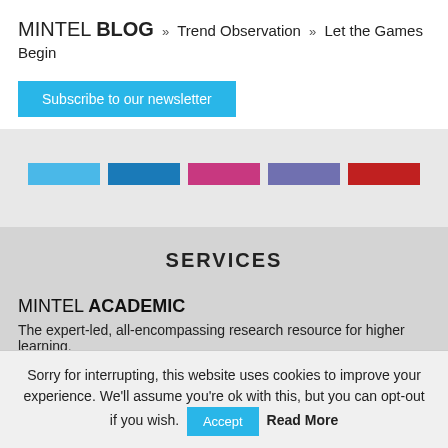MINTEL BLOG » Trend Observation » Let the Games Begin
Subscribe to our newsletter
[Figure (other): Row of five colored rectangular bars: light blue, dark blue, pink/magenta, purple, red]
SERVICES
MINTEL ACADEMIC
The expert-led, all-encompassing research resource for higher learning.
Sorry for interrupting, this website uses cookies to improve your experience. We'll assume you're ok with this, but you can opt-out if you wish. Accept Read More